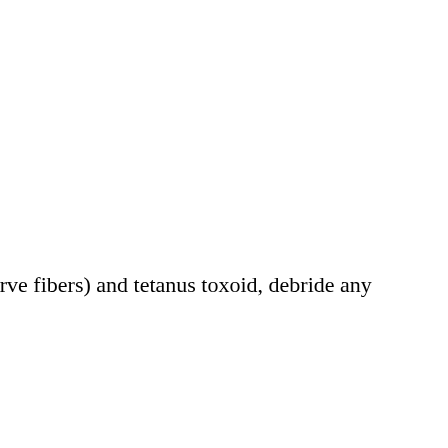erve fibers) and tetanus toxoid, debride any